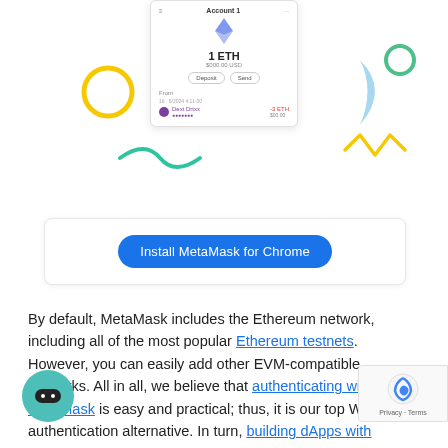[Figure (screenshot): MetaMask mobile wallet app screenshot showing 1 ETH balance with Deposit and Send buttons, and a transaction row. Surrounded by colorful decorative shapes (yellow circle, green squiggle, blue triangle, yellow zigzag, green circle). Below the screenshot is a white card with an 'Install MetaMask for Chrome' blue pill button.]
By default, MetaMask includes the Ethereum network, including all of the most popular Ethereum testnets. However, you can easily add other EVM-compatible networks. All in all, we believe that authenticating with MetaMask is easy and practical; thus, it is our top Web3 authentication alternative. In turn, building dApps with MetaMask is a whole lot easier. Nonetheless, make sure to also check how to launch Web3 apps with MetaMask.